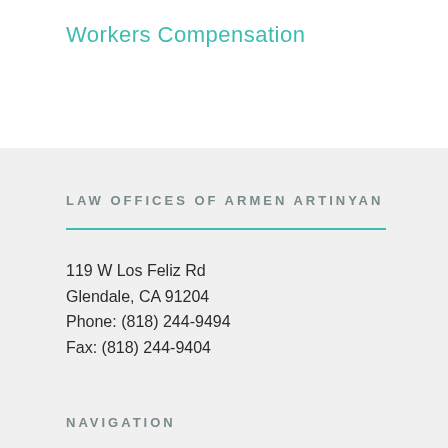Workers Compensation
LAW OFFICES OF ARMEN ARTINYAN
119 W Los Feliz Rd
Glendale, CA 91204
Phone: (818) 244-9494
Fax: (818) 244-9404
NAVIGATION